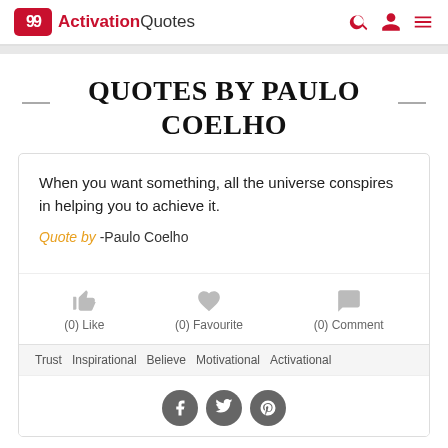ActivationQuotes
QUOTES BY PAULO COELHO
When you want something, all the universe conspires in helping you to achieve it.
Quote by -Paulo Coelho
(0) Like   (0) Favourite   (0) Comment
Trust   Inspirational   Believe   Motivational   Activational